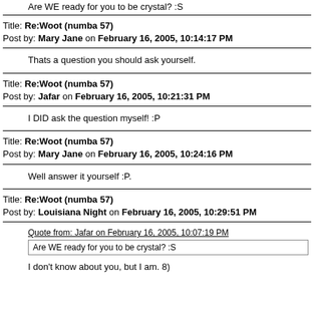Are WE ready for you to be crystal? :S
Title: Re:Woot (numba 57)
Post by: Mary Jane on February 16, 2005, 10:14:17 PM
Thats a question you should ask yourself.
Title: Re:Woot (numba 57)
Post by: Jafar on February 16, 2005, 10:21:31 PM
I DID ask the question myself! :P
Title: Re:Woot (numba 57)
Post by: Mary Jane on February 16, 2005, 10:24:16 PM
Well answer it yourself :P.
Title: Re:Woot (numba 57)
Post by: Louisiana Night on February 16, 2005, 10:29:51 PM
Quote from: Jafar on February 16, 2005, 10:07:19 PM
Are WE ready for you to be crystal? :S
I don't know about you, but I am. 8)